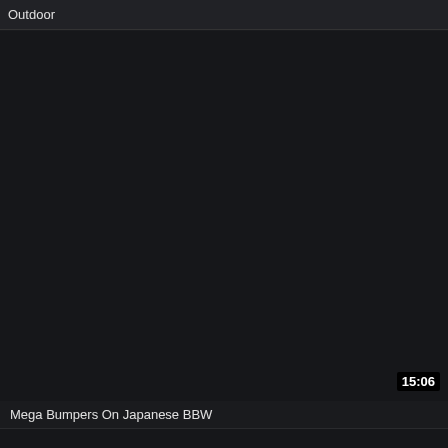Outdoor
[Figure (screenshot): Dark video thumbnail placeholder with timestamp 15:06 in bottom right corner]
Mega Bumpers On Japanese BBW
[Figure (screenshot): Dark video thumbnail placeholder, partially visible at bottom of page]